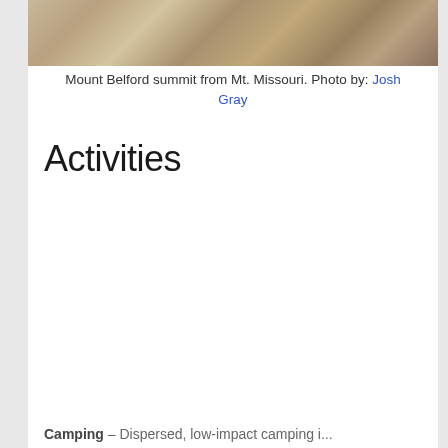[Figure (photo): Mountain summit photo - Mount Belford summit from Mt. Missouri, showing rushing water/rapids over rocks]
Mount Belford summit from Mt. Missouri. Photo by: Josh Gray
Activities
Camping – Dispersed, low-impact camping i...